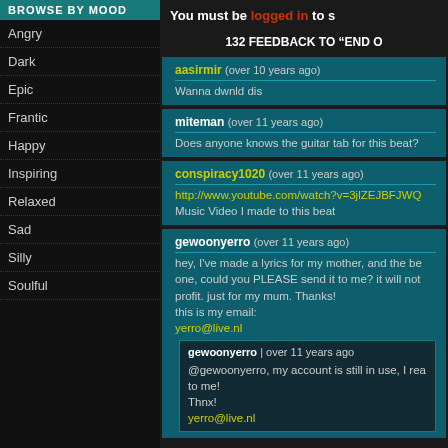BROWSE BY MOOD
Angry
Dark
Epic
Frantic
Happy
Inspiring
Relaxed
Sad
Silly
Soulful
You must be logged in to s
132 FEEDBACK TO “END O
aasirmir (over 10 years ago)
Wanna dwnld dis
miteman (over 11 years ago)
Does anyone knows the guitar tab for this beat?
conspiracy1020 (over 11 years ago)
http://www.youtube.com/watch?v=3jlZEJBFJWQ
Music Video I made to this beat
gewoonyerro (over 11 years ago)
hey, I've made a lyrics for my mother, and the be one, could you PLEASE send it to me? it will not profit. just for my mum. Thanks!
this is my email:
yerro@live.nl
gewoonyerro | over 11 years ago
@gewoonyerro, my account is still in use, I rea to me!
Thnx!
yerro@live.nl